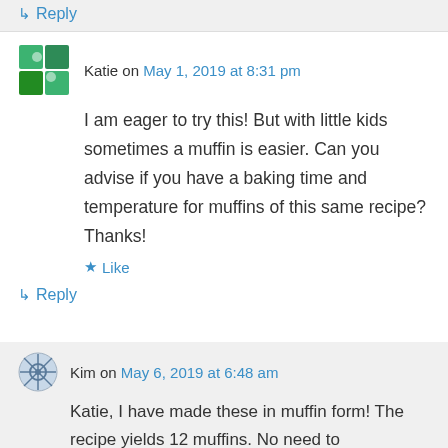↳ Reply
Katie on May 1, 2019 at 8:31 pm
I am eager to try this! But with little kids sometimes a muffin is easier. Can you advise if you have a baking time and temperature for muffins of this same recipe? Thanks!
★ Like
↳ Reply
Kim on May 6, 2019 at 6:48 am
Katie, I have made these in muffin form! The recipe yields 12 muffins. No need to alter the recipe, simply bake for 20-22...